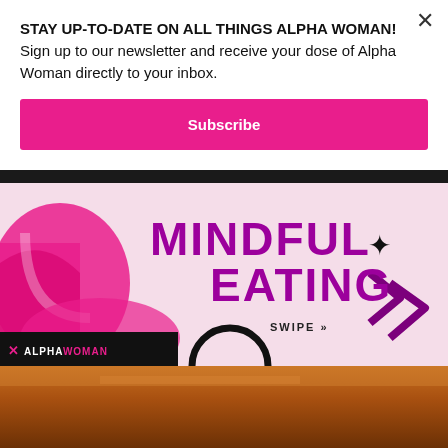STAY UP-TO-DATE ON ALL THINGS ALPHA WOMAN! Sign up to our newsletter and receive your dose of Alpha Woman directly to your inbox.
Subscribe
[Figure (illustration): Mindful Eating graphic with pink/purple text on light pink background. Decorative shapes in pink. SWIPE >> text. ALPHAWOMAN logo on black bar at bottom left.]
[Figure (photo): Food photo with warm amber/orange/brown tones, partially visible.]